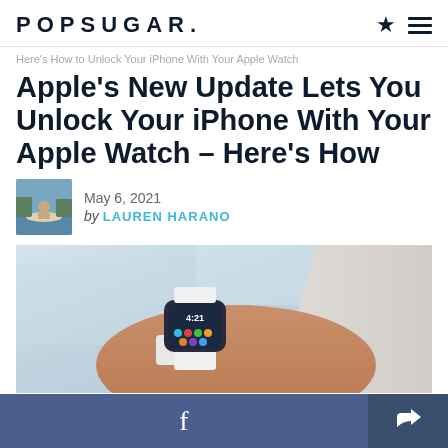POPSUGAR.
Here's How to Unlock Your iPhone With Your Apple Watch
Apple's New Update Lets You Unlock Your iPhone With Your Apple Watch – Here's How
May 6, 2021
by LAUREN HARANO
[Figure (photo): Close-up photo of a person's wrist wearing an Apple Watch with a white band, showing the watch face with icons on screen.]
Facebook share button | Share button